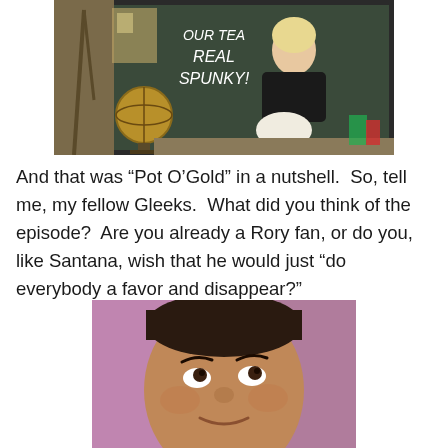[Figure (photo): A blonde woman in a black top and white skirt sitting on a desk in front of a chalkboard that reads 'Our Teacher Real Spunky!' with a globe in the background.]
And that was “Pot O’Gold” in a nutshell.  So, tell me, my fellow Gleeks.  What did you think of the episode?  Are you already a Rory fan, or do you, like Santana, wish that he would just “do everybody a favor and disappear?”
[Figure (photo): Close-up photo of a woman (Santana from Glee) looking upward with a raised-eyebrow expression, with a blurred colorful background.]